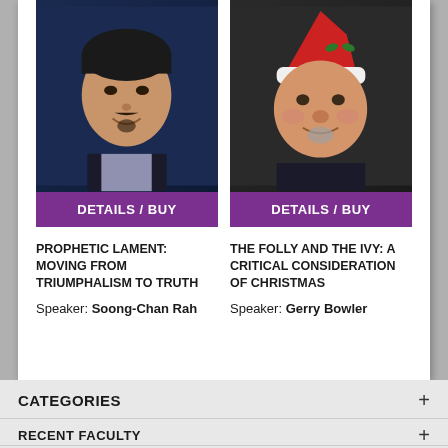[Figure (photo): Headshot of Soong-Chan Rah, an Asian man in a dark suit against a dark blue background]
DETAILS / BUY
PROPHETIC LAMENT: MOVING FROM TRIUMPHALISM TO TRUTH
Speaker: Soong-Chan Rah
[Figure (photo): Photo of Gerry Bowler wearing a Santa hat with holly decorations, smiling man with beard against dark background]
DETAILS / BUY
THE FOLLY AND THE IVY: A CRITICAL CONSIDERATION OF CHRISTMAS
Speaker: Gerry Bowler
CATEGORIES
RECENT FACULTY